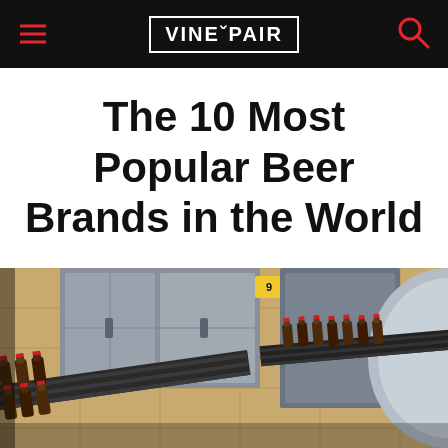VINEPAIR
The 10 Most Popular Beer Brands in the World
[Figure (photo): Beer bottles on a brewery conveyor belt production line, viewed from above at an angle, with stainless steel machinery in the background]